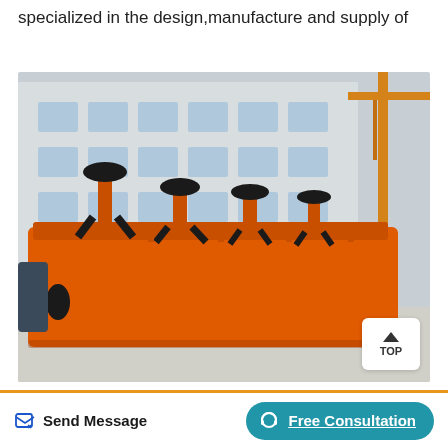specialized in the design,manufacture and supply of
[Figure (photo): Large orange industrial flotation machine / mineral processing equipment photographed in a factory yard with a building and crane in background]
stone crushing plant for sale in uk
Mar 03, 2019 Used stone crusher machine and
Send Message | Free Consultation